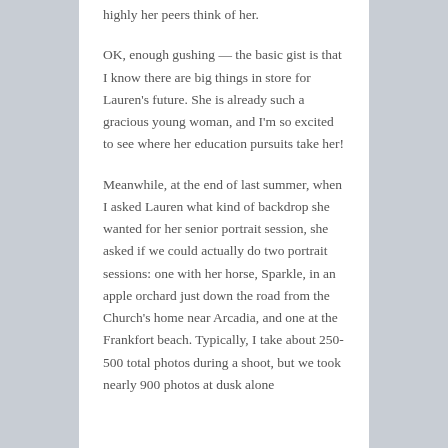highly her peers think of her.
OK, enough gushing — the basic gist is that I know there are big things in store for Lauren's future. She is already such a gracious young woman, and I'm so excited to see where her education pursuits take her!
Meanwhile, at the end of last summer, when I asked Lauren what kind of backdrop she wanted for her senior portrait session, she asked if we could actually do two portrait sessions: one with her horse, Sparkle, in an apple orchard just down the road from the Church's home near Arcadia, and one at the Frankfort beach. Typically, I take about 250-500 total photos during a shoot, but we took nearly 900 photos at dusk alone